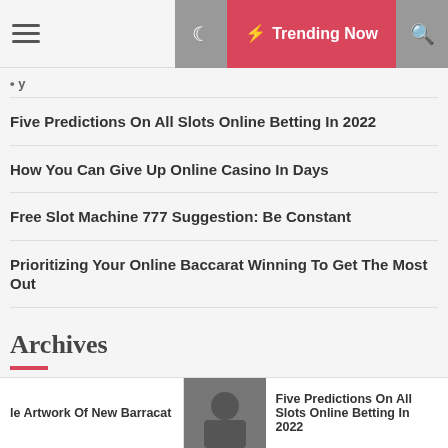Trending Now
Five Predictions On All Slots Online Betting In 2022
How You Can Give Up Online Casino In Days
Free Slot Machine 777 Suggestion: Be Constant
Prioritizing Your Online Baccarat Winning To Get The Most Out
Archives
August 2022
le Artwork Of New Barracat | Five Predictions On All Slots Online Betting In 2022